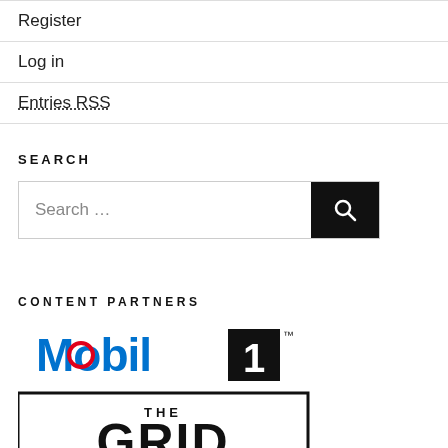Register
Log in
Entries RSS
SEARCH
Search …
CONTENT PARTNERS
[Figure (logo): Mobil 1 The Grid logo — blue 'Mobil' text with red 'o', white '1' on black square, superscript TM, below a bordered box reading 'THE GRID']